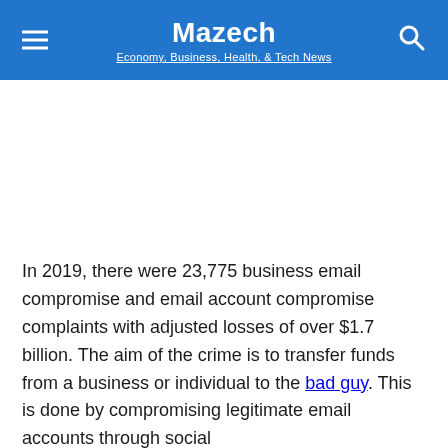Mazech — Economy, Business, Health, & Tech News
In 2019, there were 23,775 business email compromise and email account compromise complaints with adjusted losses of over $1.7 billion. The aim of the crime is to transfer funds from a business or individual to the bad guy. This is done by compromising legitimate email accounts through social
[Figure (screenshot): Tally app advertisement banner: dark green background with Tally logo and tagline 'Fast credit card payoff' on the left, and a 'Download Now' button on the right with close/info/X icons at top right.]